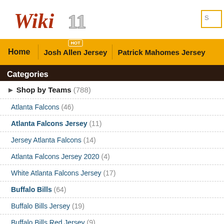[Figure (logo): Wiki11 logo in red italic serif font with gray number 11]
Home  Josh Allen Jersey  HOT  Patrick Mahomes Jersey
Categories
Home :: Shop by Players :: Josh Allen :: W
Shop by Teams (788)
Atlanta Falcons (46)
Atlanta Falcons Jersey (11)
Jersey Atlanta Falcons (14)
Atlanta Falcons Jersey 2020 (4)
White Atlanta Falcons Jersey (17)
Buffalo Bills (64)
Buffalo Bills Jersey (19)
Buffalo Bills Red Jersey (9)
[Figure (photo): Two Buffalo Bills #17 Josh Allen white jerseys on display mannequins, one showing front with BILLS lettering and 17, one showing back with ALL name]